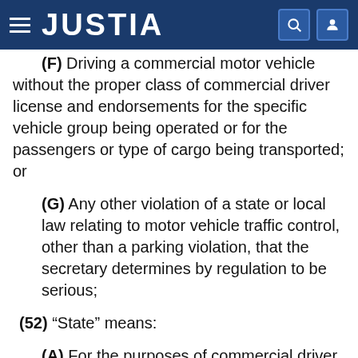JUSTIA
(F)  Driving a commercial motor vehicle without the proper class of commercial driver license and endorsements for the specific vehicle group being operated or for the passengers or type of cargo being transported; or
(G)  Any other violation of a state or local law relating to motor vehicle traffic control, other than a parking violation, that the secretary determines by regulation to be serious;
(52)  “State” means:
(A)  For the purposes of commercial driver licenses, a state of the United States and the District of Columbia;
(B)  For all other purposes, a state of the United States, the District of Columbia, Puerto Rico, the Virgin